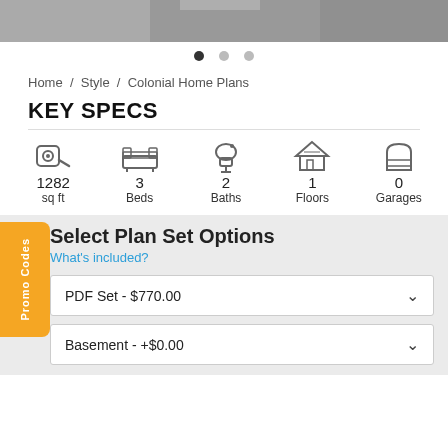[Figure (photo): Top portion of a home exterior photo, partially cropped]
[Figure (other): Carousel navigation dots, first dot active]
Home / Style / Colonial Home Plans
KEY SPECS
[Figure (infographic): Key specs icons row: tape measure (1282 sq ft), bed (3 Beds), toilet (2 Baths), house (1 Floors), garage (0 Garages)]
Promo Codes
Select Plan Set Options
What's included?
PDF Set - $770.00
Basement - +$0.00